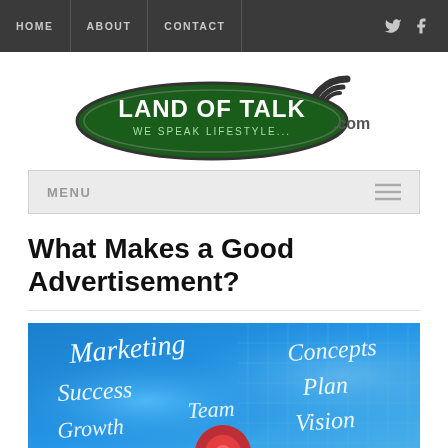HOME | ABOUT | CONTACT
[Figure (logo): Land of Talk .com — We Speak Lifestyle... logo with WiFi signal icon]
MENU
What Makes a Good Advertisement?
[Figure (illustration): Marketing concept image with words: Marketing, Success, Growth, Team, Concepts, Plan, Vision on a blue background]